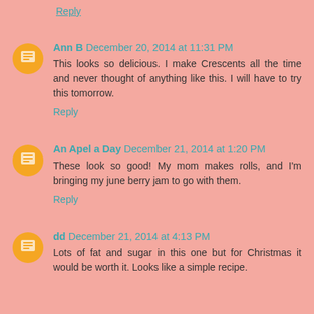Reply
Ann B December 20, 2014 at 11:31 PM
This looks so delicious. I make Crescents all the time and never thought of anything like this. I will have to try this tomorrow.
Reply
An Apel a Day December 21, 2014 at 1:20 PM
These look so good! My mom makes rolls, and I'm bringing my june berry jam to go with them.
Reply
dd December 21, 2014 at 4:13 PM
Lots of fat and sugar in this one but for Christmas it would be worth it. Looks like a simple recipe.